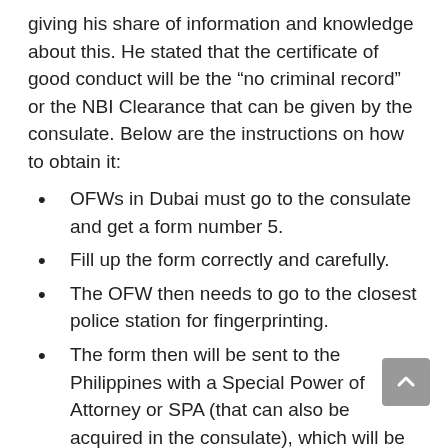giving his share of information and knowledge about this. He stated that the certificate of good conduct will be the “no criminal record” or the NBI Clearance that can be given by the consulate. Below are the instructions on how to obtain it:
OFWs in Dubai must go to the consulate and get a form number 5.
Fill up the form correctly and carefully.
The OFW then needs to go to the closest police station for fingerprinting.
The form then will be sent to the Philippines with a Special Power of Attorney or SPA (that can also be acquired in the consulate), which will be needed to authorize the representative of the OFW in the Philippines.
Lastly, the representative or designated person of the OFW must bring it to the DFA for